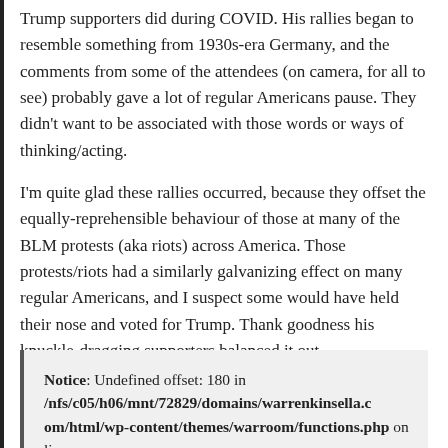Trump supporters did during COVID. His rallies began to resemble something from 1930s-era Germany, and the comments from some of the attendees (on camera, for all to see) probably gave a lot of regular Americans pause. They didn't want to be associated with those words or ways of thinking/acting.
I'm quite glad these rallies occurred, because they offset the equally-reprehensible behaviour of those at many of the BLM protests (aka riots) across America. Those protests/riots had a similarly galvanizing effect on many regular Americans, and I suspect some would have held their nose and voted for Trump. Thank goodness his knuckle-dragging supporters balanced it out.
Reply
Notice: Undefined offset: 180 in /nfs/c05/h06/mnt/72829/domains/warrenkinsella.com/html/wp-content/themes/warroom/functions.php on line